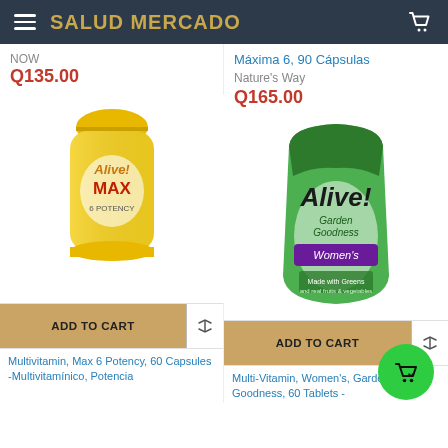SALUD MERCADO
NOW
Q135.00
Máxima 6, 90 Cápsulas
Nature's Way
Q165.00
[Figure (photo): Alive! Max 6 Potency multivitamin bottle, yellow cap, yellow label]
[Figure (photo): Alive! Garden Goodness Women's Multi-Vitamin green pouch bag]
ADD TO CART
ADD TO CART
Multivitamin, Max 6 Potency, 60 Capsules -Multivitamínico, Potencia
Multi-Vitamin, Women's, Garden Goodness, 60 Tablets -